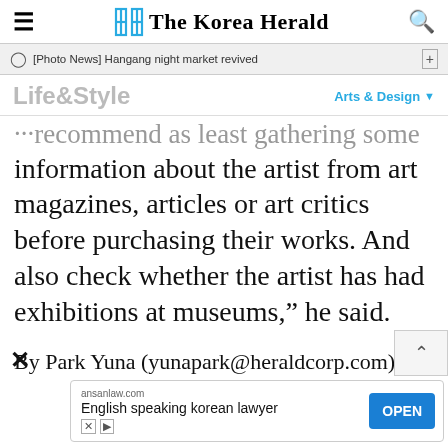The Korea Herald
[Photo News] Hangang night market revived
Life&Style — Arts & Design
information about the artist from art magazines, articles or art critics before purchasing their works. And also check whether the artist has had exhibitions at museums," he said.
By Park Yuna (yunapark@heraldcorp.com)
[Figure (screenshot): Ad banner: ansanlaw.com — English speaking korean lawyer — OPEN button]